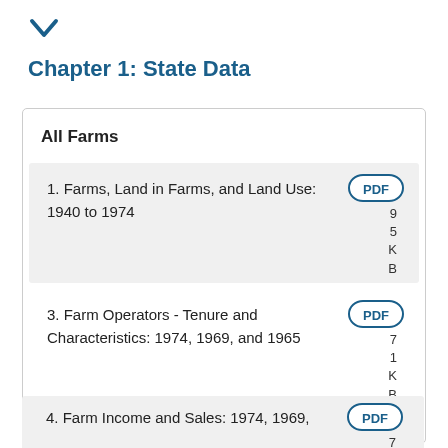[Figure (other): Chevron/dropdown arrow icon pointing downward in dark blue]
Chapter 1: State Data
All Farms
1. Farms, Land in Farms, and Land Use: 1940 to 1974
3. Farm Operators - Tenure and Characteristics: 1974, 1969, and 1965
4. Farm Income and Sales: 1974, 1969,